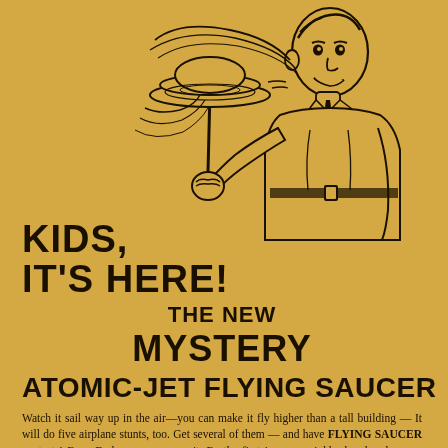[Figure (illustration): Vintage retro advertisement illustration of a smiling boy holding up a spinning flying saucer toy on a stick with motion lines indicating spinning/flying, drawn in black ink on golden/tan background]
KIDS, IT'S HERE! THE NEW MYSTERY ATOMIC-JET FLYING SAUCER
Watch it sail way up in the air—you can make it fly higher than a tall building — It will do five airplane stunts, too. Get several of them — and have FLYING SAUCER contests! Even Dads go crazy over it. Be the first in your neighborhood and amaze your friends. Atomic-Jet Flying Saucers and extra flying wheels on sale at